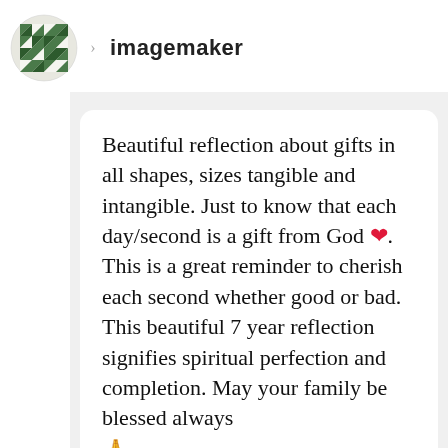[Figure (logo): Green geometric quilt-pattern star logo for user imagemaker]
imagemaker
Beautiful reflection about gifts in all shapes, sizes tangible and intangible. Just to know that each day/second is a gift from God ❤. This is a great reminder to cherish each second whether good or bad. This beautiful 7 year reflection signifies spiritual perfection and completion. May your family be blessed always 🙏